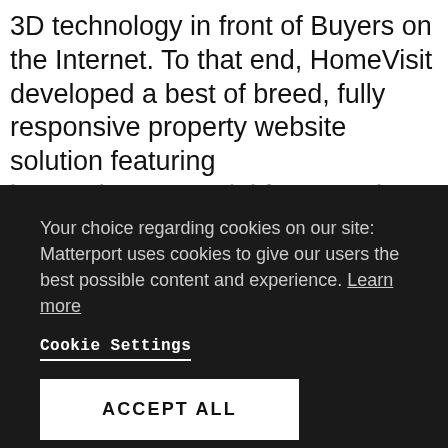3D technology in front of Buyers on the Internet. To that end, HomeVisit developed a best of breed, fully responsive property website solution featuring [obscured line]
Your choice regarding cookies on our site: Matterport uses cookies to give our users the best possible content and experience. Learn more
Cookie Settings
ACCEPT ALL